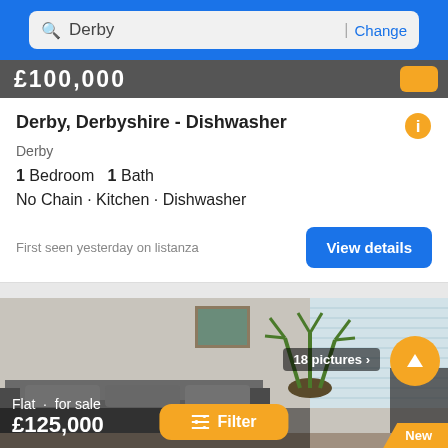Derby | Change
£100,000
Derby, Derbyshire - Dishwasher
Derby
1 Bedroom  1 Bath
No Chain · Kitchen · Dishwasher
First seen yesterday on listanza
View details
[Figure (photo): Interior photo of a living room with a grey sofa, houseplant, window with blinds, and framed artwork on the wall]
18 pictures
Flat · for sale
£125,000
Filter
New